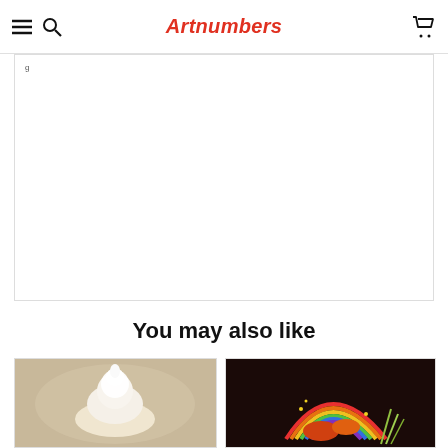Artnumbers
[Figure (photo): White content area with partial text visible at top left]
You may also like
[Figure (photo): Product card showing a dessert/cream dish on light background]
[Figure (photo): Product card showing colorful dessert with rainbow and fruit on dark red background]